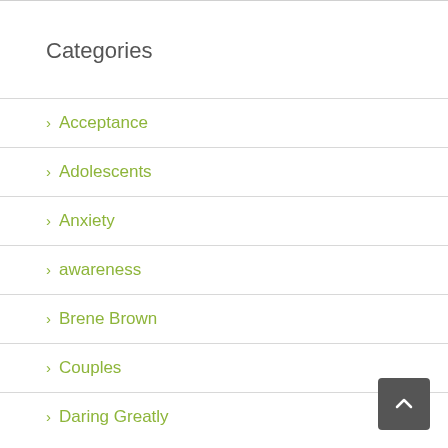Categories
Acceptance
Adolescents
Anxiety
awareness
Brene Brown
Couples
Daring Greatly